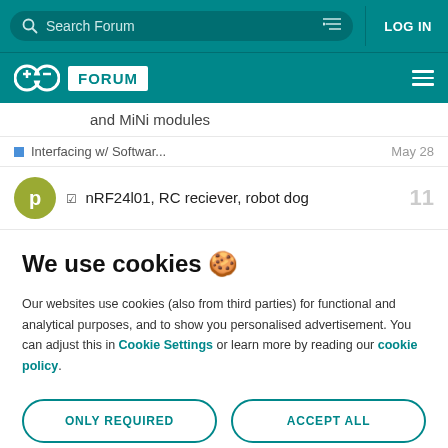Search Forum | LOG IN
FORUM
and MiNi modules
Interfacing w/ Softwar...  May 28
nRF24l01, RC reciever, robot dog  11
We use cookies 🍪
Our websites use cookies (also from third parties) for functional and analytical purposes, and to show you personalised advertisement. You can adjust this in Cookie Settings or learn more by reading our cookie policy.
ONLY REQUIRED
ACCEPT ALL